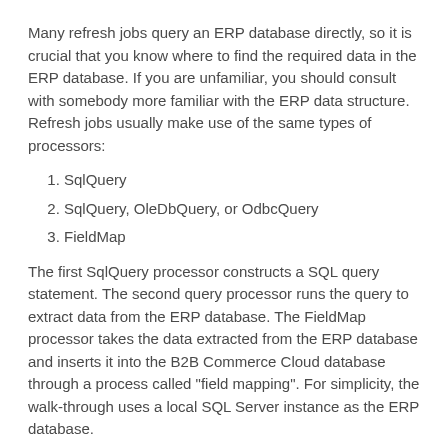Many refresh jobs query an ERP database directly, so it is crucial that you know where to find the required data in the ERP database. If you are unfamiliar, you should consult with somebody more familiar with the ERP data structure. Refresh jobs usually make use of the same types of processors:
SqlQuery
SqlQuery, OleDbQuery, or OdbcQuery
FieldMap
The first SqlQuery processor constructs a SQL query statement. The second query processor runs the query to extract data from the ERP database. The FieldMap processor takes the data extracted from the ERP database and inserts it into the B2B Commerce Cloud database through a process called "field mapping". For simplicity, the walk-through uses a local SQL Server instance as the ERP database.